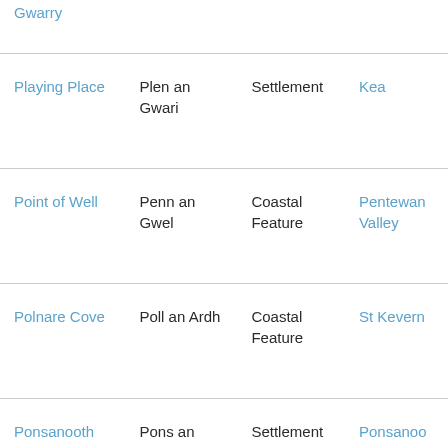| English Name | Cornish Name | Feature Type | Parish |
| --- | --- | --- | --- |
| Gwarry (partial) |  |  |  |
| Playing Place | Plen an Gwari | Settlement | Kea |
| Point of Well | Penn an Gwel | Coastal Feature | Pentewan Valley (partial) |
| Polnare Cove | Poll an Ardh | Coastal Feature | St Kevern (partial) |
| Ponsanooth | Pons an | Settlement | Ponsanoo (partial) |